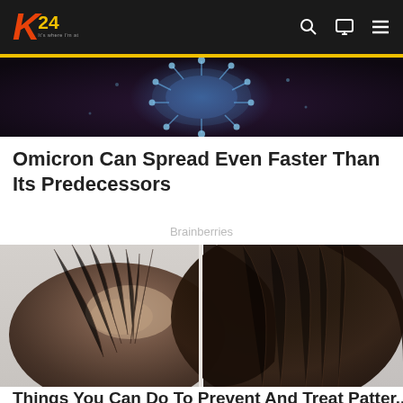K24 — It's where I'm at
[Figure (photo): Dark background image showing a coronavirus/molecule structure with blue glowing spikes against a dark purple background]
Omicron Can Spread Even Faster Than Its Predecessors
Brainberries
[Figure (photo): Split comparison photo showing thinning/balding hair on the left side versus full thick dark hair on the right side, on a light gray background]
Things You Can Do To Prevent And Treat Patter...